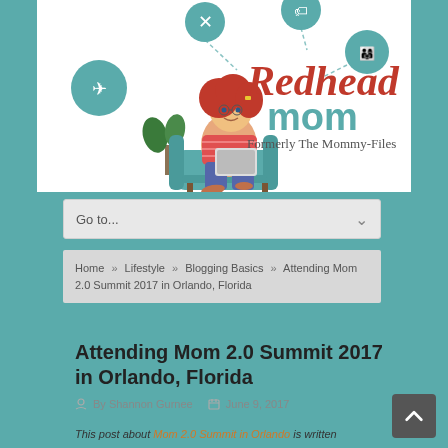[Figure (logo): Redhead Mom blog logo — cartoon redhead woman sitting in teal armchair with laptop, surrounded by circular icons (food, travel, deals, family). Text reads 'Redhead mom — Formerly The Mommy-Files']
Go to...
Home » Lifestyle » Blogging Basics » Attending Mom 2.0 Summit 2017 in Orlando, Florida
Attending Mom 2.0 Summit 2017 in Orlando, Florida
By Shannon Gurnee   June 9, 2017
This post about Mom 2.0 Summit in Orlando is written